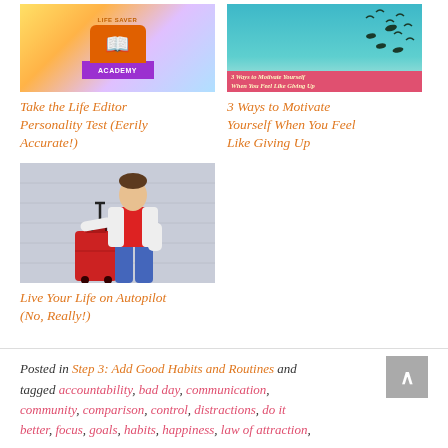[Figure (photo): Colorful gradient background with Life Saver Academy badge/logo in orange and purple]
Take the Life Editor Personality Test (Eerily Accurate!)
[Figure (photo): Teal background with flying birds silhouettes and pink banner overlay with italic text: 3 Ways to Motivate Yourself When You Feel Like Giving Up]
3 Ways to Motivate Yourself When You Feel Like Giving Up
[Figure (photo): Woman in white jacket, red top, and blue jeans standing next to a red rolling suitcase against a gray wall]
Live Your Life on Autopilot (No, Really!)
Posted in Step 3: Add Good Habits and Routines and tagged accountability, bad day, communication, community, comparison, control, distractions, do it better, focus, goals, habits, happiness, law of attraction,